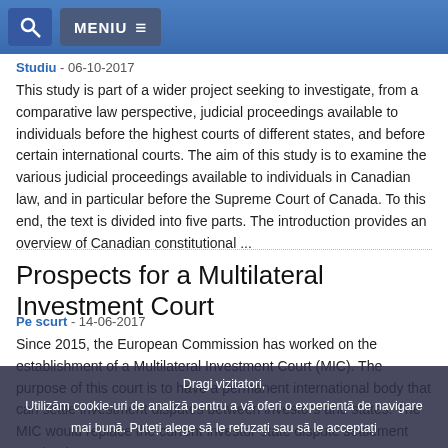MENIU
Studiu - 06-10-2017
This study is part of a wider project seeking to investigate, from a comparative law perspective, judicial proceedings available to individuals before the highest courts of different states, and before certain international courts. The aim of this study is to examine the various judicial proceedings available to individuals in Canadian law, and in particular before the Supreme Court of Canada. To this end, the text is divided into five parts. The introduction provides an overview of Canadian constitutional ...
Prospects for a Multilateral Investment Court
Pe scurt - 14-06-2017
Since 2015, the European Commission has worked on the establishment of a Multilateral Investment Court (MIC). The purpose of this court is to have a permanent international body that can settle investment disputes between investors and states. The MIC would replace the current investor-state dispute settlement mechanism ...
Dragi vizitatori,
Utilizăm cookie-uri de analiză pentru a vă oferi o experiență de navigare mai bună. Puteți alege să le refuzați sau să le acceptați